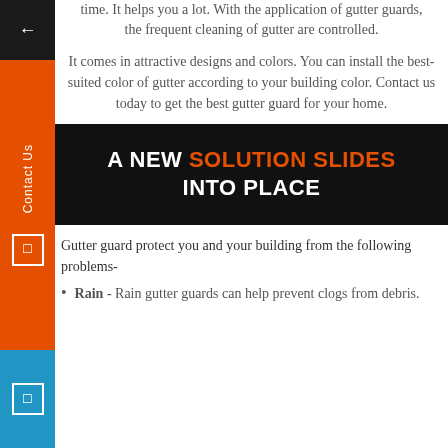time. It helps you a lot. With the application of gutter guards, the frequent cleaning of gutter are controlled.
It comes in attractive designs and colors. You can install the best-suited color of gutter according to your building color. Contact us today to get the best gutter guard for your home.
[Figure (infographic): Black banner with bold white and orange text reading: A NEW SOLUTION SLIDES INTO PLACE]
Gutter guard protect you and your building from the following problems-
Rain - Rain gutter guards can help prevent clogs from debris.